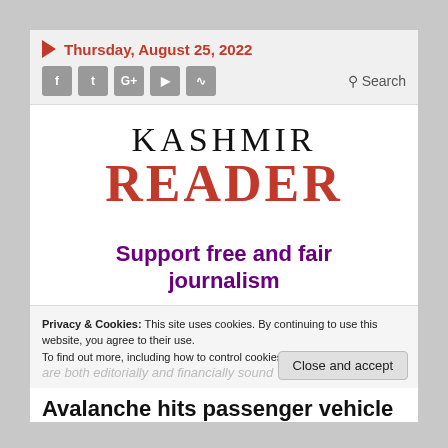Thursday, August 25, 2022
KASHMIR READER
Support free and fair journalism
Privacy & Cookies: This site uses cookies. By continuing to use this website, you agree to their use. To find out more, including how to control cookies, see here: Cookie Policy
Close and accept
Avalanche hits passenger vehicle